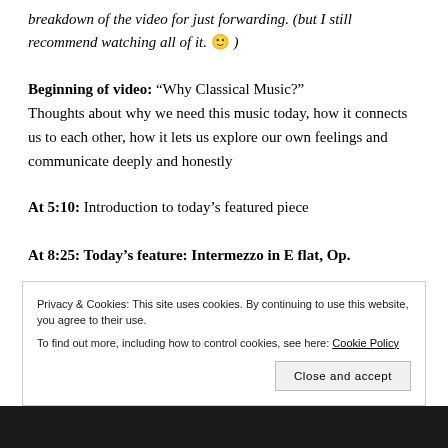breakdown of the video for just forwarding. (but I still recommend watching all of it. 🙂 )
Beginning of video: “Why Classical Music?” Thoughts about why we need this music today, how it connects us to each other, how it lets us explore our own feelings and communicate deeply and honestly
At 5:10: Introduction to today’s featured piece
At 8:25: Today’s feature: Intermezzo in E flat, Op.
Privacy & Cookies: This site uses cookies. By continuing to use this website, you agree to their use.
To find out more, including how to control cookies, see here: Cookie Policy
Close and accept